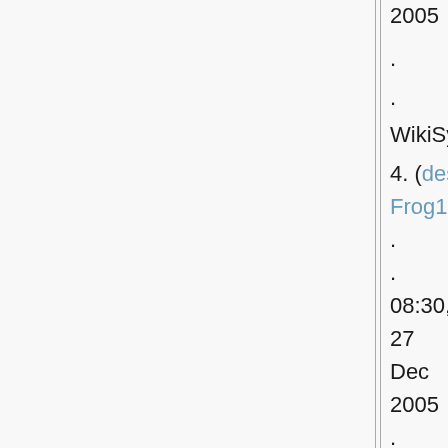2005
.
.
WikiSysop
4. (desc) Frog1a.jpg . . 08:30, 27 Dec 2005 . . WikiSysop (Image provided
(Image provided